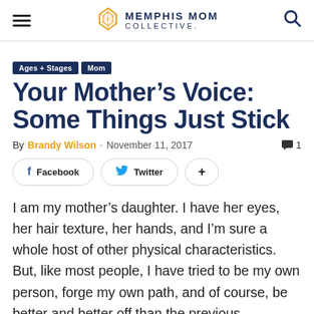Memphis Mom Collective
Ages + Stages
Mom
Your Mother’s Voice: Some Things Just Stick
By Brandy Wilson - November 11, 2017  1
[Figure (other): Social sharing buttons: Facebook, Twitter, and More (+)]
I am my mother’s daughter. I have her eyes, her hair texture, her hands, and I’m sure a whole host of other physical characteristics. But, like most people, I have tried to be my own person, forge my own path, and of course, be better and better off than the previous generation. This was never truer than for my